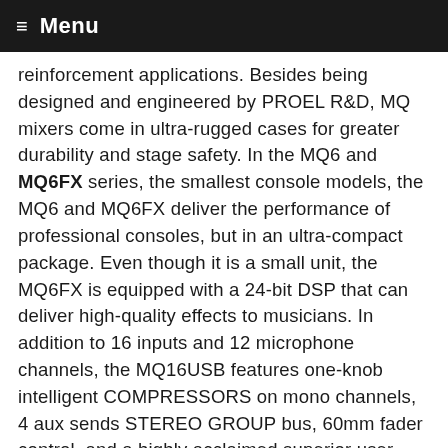≡ Menu
reinforcement applications. Besides being designed and engineered by PROEL R&D, MQ mixers come in ultra-rugged cases for greater durability and stage safety. In the MQ6 and MQ6FX series, the smallest console models, the MQ6 and MQ6FX deliver the performance of professional consoles, but in an ultra-compact package. Even though it is a small unit, the MQ6FX is equipped with a 24-bit DSP that can deliver high-quality effects to musicians. In addition to 16 inputs and 12 microphone channels, the MQ16USB features one-knob intelligent COMPRESSORS on mono channels, 4 aux sends STEREO GROUP bus, 60mm fader control, and a highly acclaimed superior user experience. For select models, padded carrying bags and metal